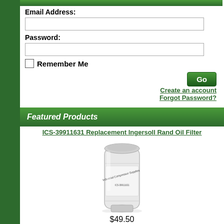Email Address:
Password:
Remember Me
Go
Create an account
Forgot Password?
Featured Products
ICS-39911631 Replacement Ingersoll Rand Oil Filter
[Figure (photo): Oil filter product image - cylindrical white/grey oil filter with 'Industrial Compressor Supplies' text on label]
$49.50
ICS-39433743 Replacement Ingersoll Rand Ultra Coolant 55 Gallon Drum Polyglycol/Ester Blend